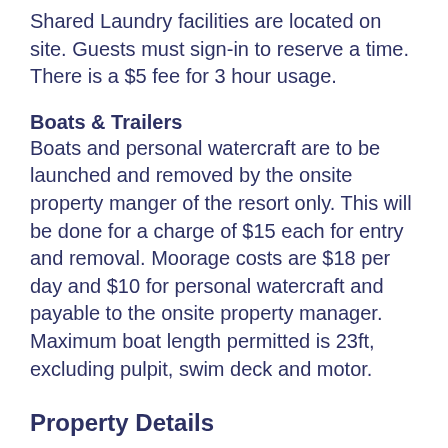Shared Laundry facilities are located on site.  Guests must sign-in to reserve a time.  There is a $5 fee for 3 hour usage.
Boats & Trailers
Boats and personal watercraft are to be launched and removed by the onsite property manger of the resort only.  This will be done for a charge of $15 each for entry and removal.  Moorage costs are $18 per day and $10 for personal watercraft and payable to the onsite property manager.  Maximum boat length permitted is 23ft, excluding pulpit, swim deck and motor.
Property Details